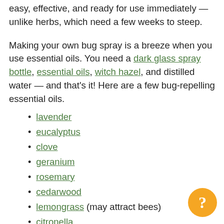easy, effective, and ready for use immediately — unlike herbs, which need a few weeks to steep.
Making your own bug spray is a breeze when you use essential oils. You need a dark glass spray bottle, essential oils, witch hazel, and distilled water — and that's it! Here are a few bug-repelling essential oils.
lavender
eucalyptus
clove
geranium
rosemary
cedarwood
lemongrass (may attract bees)
citronella